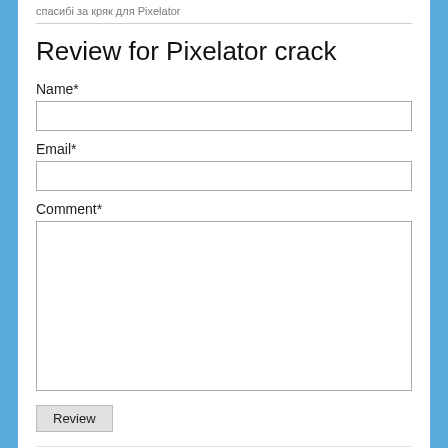спасибі за кряк для Pixelator
Review for Pixelator crack
Name*
Email*
Comment*
Review
How it works